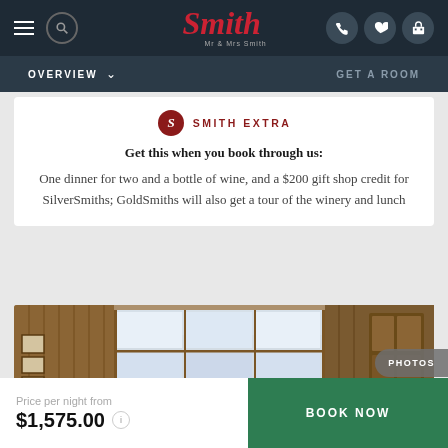[Figure (screenshot): Mr & Mrs Smith website header navigation bar with hamburger menu, search icon, logo, phone, heart, and luggage icons]
[Figure (screenshot): Secondary navigation bar with OVERVIEW dropdown and GET A ROOM options]
SMITH EXTRA
Get this when you book through us:
One dinner for two and a bottle of wine, and a $200 gift shop credit for SilverSmiths; GoldSmiths will also get a tour of the winery and lunch
[Figure (photo): Interior photo of a cozy lodge room with wood-paneled walls, large multi-pane windows with snowy view outside, framed pictures on left wall, and a wooden cabinet/bookcase on the right. A plaid sofa is visible.]
Price per night from
$1,575.00
BOOK NOW